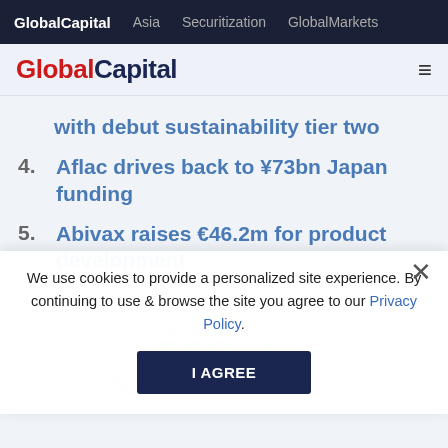GlobalCapital  Asia  Securitization  GlobalMarkets
GlobalCapital
with debut sustainability tier two
4. Aflac drives back to ¥73bn Japan funding
5. Abivax raises €46.2m for product development
We use cookies to provide a personalized site experience. By continuing to use & browse the site you agree to our Privacy Policy.
I AGREE
Annual conference on ESG IN STRUCTURED